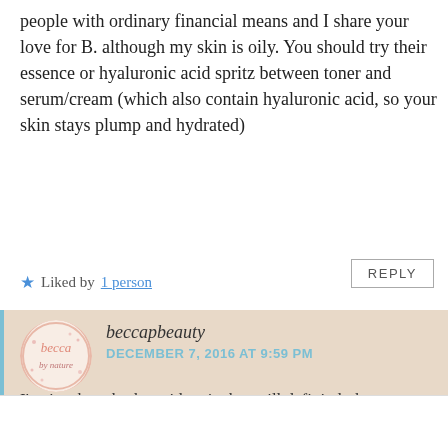people with ordinary financial means and I share your love for B. although my skin is oily. You should try their essence or hyaluronic acid spritz between toner and serum/cream (which also contain hyaluronic acid, so your skin stays plump and hydrated)
★ Liked by 1 person
REPLY
beccapbeauty
DECEMBER 7, 2016 AT 9:59 PM
I've just bought the acid spritz but will definitely keep my eyes peeled for the essence! Thanks so much for reading and appreciating my post! Xx
Advertisements